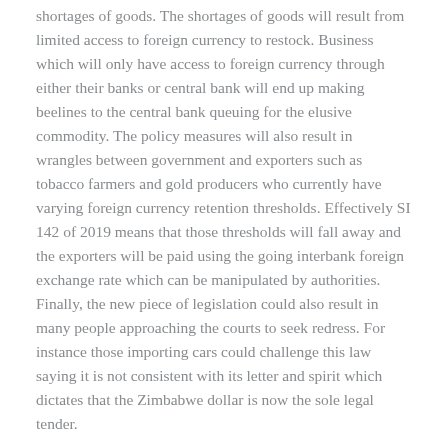shortages of goods. The shortages of goods will result from limited access to foreign currency to restock. Business which will only have access to foreign currency through either their banks or central bank will end up making beelines to the central bank queuing for the elusive commodity. The policy measures will also result in wrangles between government and exporters such as tobacco farmers and gold producers who currently have varying foreign currency retention thresholds. Effectively SI 142 of 2019 means that those thresholds will fall away and the exporters will be paid using the going interbank foreign exchange rate which can be manipulated by authorities. Finally, the new piece of legislation could also result in many people approaching the courts to seek redress. For instance those importing cars could challenge this law saying it is not consistent with its letter and spirit which dictates that the Zimbabwe dollar is now the sole legal tender.
Published in  econometer
Tagged under
Be the first to comment!  |  Read more